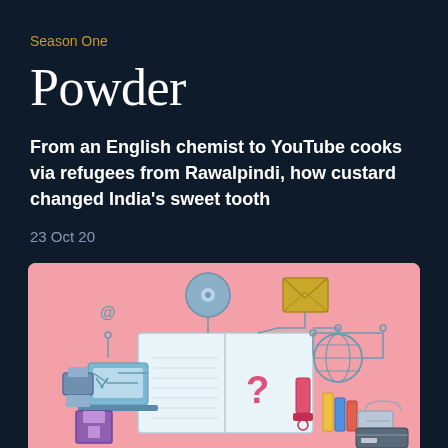Season One
Powder
From an English chemist to YouTube cooks via refugees from Rawalpindi, how custard changed India's sweet tooth
23 Oct 20
[Figure (illustration): Flat design illustration on a pink/coral background showing an open book in the center surrounded by connected icons representing digital and physical media: a laptop, a question mark, an @ symbol, a CD/disc, an envelope, a globe, a USB drive, books, a shopping bag, a credit card, a floppy disk, a printer, and various connector lines in teal/blue style.]